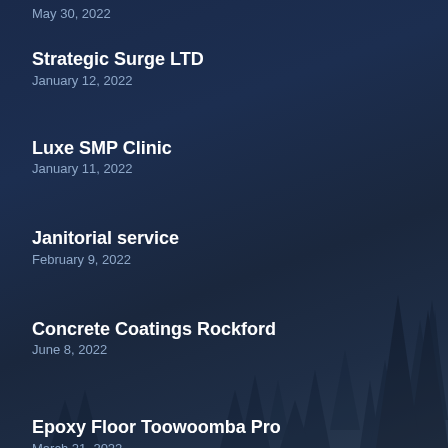May 30, 2022
Strategic Surge LTD
January 12, 2022
Luxe SMP Clinic
January 11, 2022
Janitorial service
February 9, 2022
Concrete Coatings Rockford
June 8, 2022
Epoxy Floor Toowoomba Pro
March 21, 2022